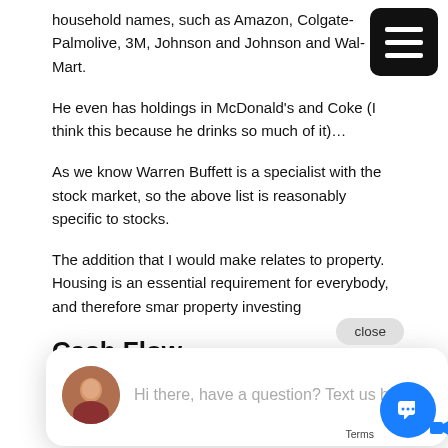household names, such as Amazon, Colgate-Palmolive, 3M, Johnson and Johnson and Wal-Mart.
He even has holdings in McDonald's and Coke (I think this because he drinks so much of it)…
As we know Warren Buffett is a specialist with the stock market, so the above list is reasonably specific to stocks.
The addition that I would make relates to property. Housing is an essential requirement for everybody, and therefore smar property investing
Cash Flow
Smart investing is all about cash flow…
There are thousands of reports and articles available all over the internet about investing for growth and how you should be